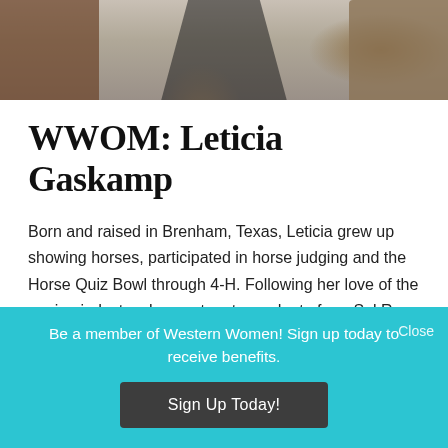[Figure (photo): Partial photo of a person in dark clothing standing near a wooden structure and a cactus plant]
WWOM: Leticia Gaskamp
Born and raised in Brenham, Texas, Leticia grew up showing horses, participated in horse judging and the Horse Quiz Bowl through 4-H. Following her love of the equine industry she went on to graduate from Sul Ross State University 2005 with a Bachelor of Science
Be a member of Western Women!  Sign up today to receive benefits.
Sign Up Today!